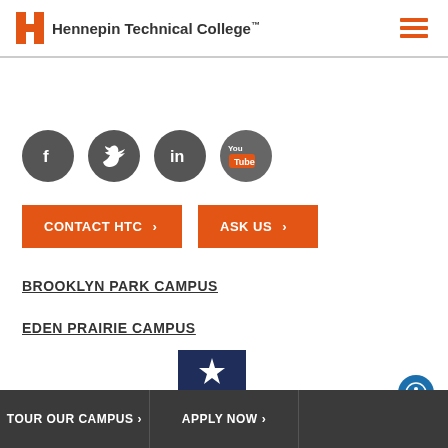Hennepin Technical College
[Figure (logo): Social media icons: Facebook, Twitter, LinkedIn, YouTube]
[Figure (other): CONTACT HTC button and ASK US button in orange]
BROOKLYN PARK CAMPUS
EDEN PRAIRIE CAMPUS
[Figure (logo): Minnesota State Colleges and Universities star-M pennant badge]
TOUR OUR CAMPUS > | APPLY NOW >